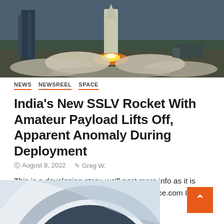[Figure (photo): Rocket launch photo showing SSLV rocket lifting off with flames and smoke, launch pad visible on the left]
NEWS  NEWSREEL  SPACE
India's New SSLV Rocket With Amateur Payload Lifts Off, Apparent Anomaly During Deployment
August 8, 2022  Greg W.
This is a developing story, we'll post more info as it is updated. Update 8/8/22: According to Space.com ISRO officials...
[Figure (photo): Partial view of a circular metallic object, possibly a satellite or equipment, shown at bottom of page]